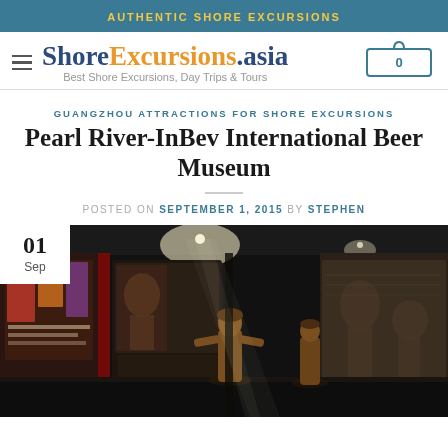AUTHENTIC SHORE EXCURSIONS
[Figure (logo): ShoreExcursions.asia logo with hamburger menu and cart icon. Tagline: Best Shore Excursions, Day Trips & Tours]
GUANGZHOU ATTRACTIONS FOR SHORE EXCURSIONS
Pearl River-InBev International Beer Museum
POSTED ON SEPTEMBER 1, 2015 BY STEPHEN
[Figure (photo): Interior of Pearl River-InBev International Beer Museum showing bronze statues and exhibition displays in a dark gallery. Date badge shows 01 Sep in top-left corner.]